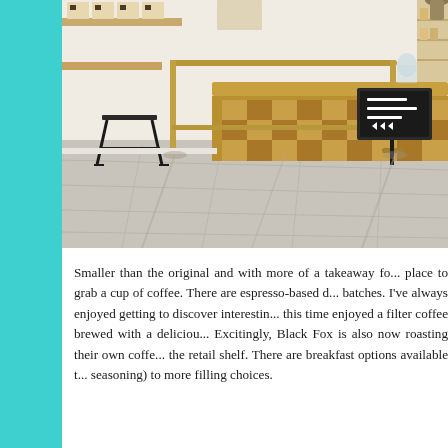[Figure (photo): Interior of a modern minimalist coffee shop with wooden counter, brass queue barrier, concrete floor, shelving with products, and a welcome sign board.]
Smaller than the original and with more of a takeaway fo... place to grab a cup of coffee. There are espresso-based d... batches. I've always enjoyed getting to discover interestin... this time enjoyed a filter coffee brewed with a deliciou... Excitingly, Black Fox is also now roasting their own coffe... the retail shelf. There are breakfast options available t... seasoning) to more filling choices.